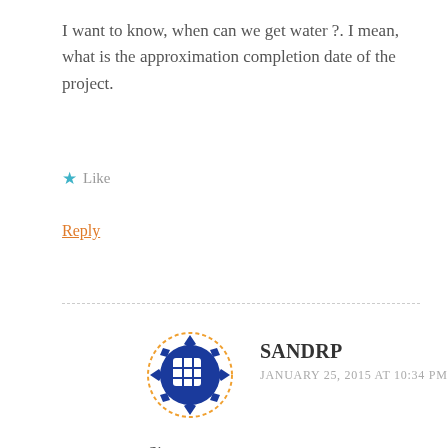I want to know, when can we get water ?. I mean, what is the approximation completion date of the project.
★ Like
Reply
[Figure (logo): SANDRP circular logo with blue decorative border and grid pattern on white background with orange dashed circle]
SANDRP
JANUARY 25, 2015 AT 10:34 PM
Sir,
There is no certainty as yet as to who will get water, when, how much and if at all. There are lot of question mark of the project as yet. People of Dakshin Kannada district and Mangalore are